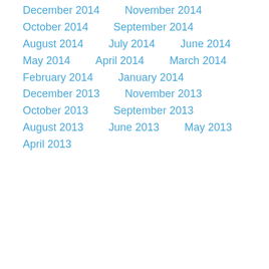December 2014
November 2014
October 2014
September 2014
August 2014
July 2014
June 2014
May 2014
April 2014
March 2014
February 2014
January 2014
December 2013
November 2013
October 2013
September 2013
August 2013
June 2013
May 2013
April 2013